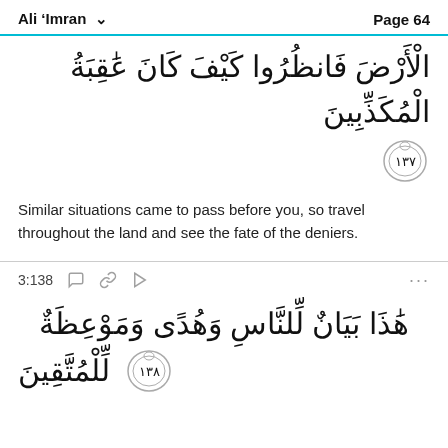Ali 'Imran  Page 64
الْأَرْضَ فَانظُرُوا كَيْفَ كَانَ عَٰقِبَةُ الْمُكَذِّبِينَ
[Figure (other): Verse number 137 in decorative circle]
Similar situations came to pass before you, so travel throughout the land and see the fate of the deniers.
3:138
هَٰذَا بَيَانٌ لِّلنَّاسِ وَهُدًى وَمَوْعِظَةٌ لِّلْمُتَّقِينَ
[Figure (other): Verse number 138 in decorative circle]